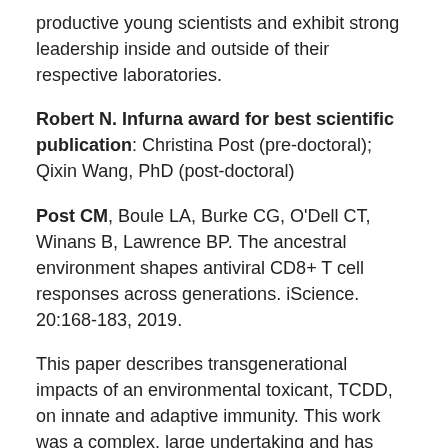productive young scientists and exhibit strong leadership inside and outside of their respective laboratories.
Robert N. Infurna award for best scientific publication: Christina Post (pre-doctoral); Qixin Wang, PhD (post-doctoral)
Post CM, Boule LA, Burke CG, O'Dell CT, Winans B, Lawrence BP. The ancestral environment shapes antiviral CD8+ T cell responses across generations. iScience. 20:168-183, 2019.
This paper describes transgenerational impacts of an environmental toxicant, TCDD, on innate and adaptive immunity. This work was a complex, large undertaking and has significant implications for the way that we think about who is impacted by environmental exposures.